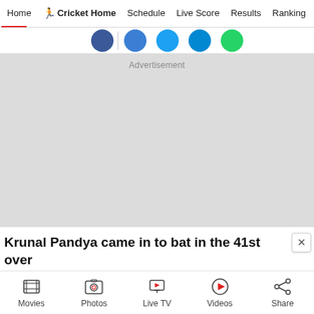Home | Cricket Home | Schedule | Live Score | Results | Ranking
[Figure (screenshot): Social media sharing icon circles: Facebook (blue), camera/Instagram (blue), LinkedIn (blue), WhatsApp (green), with a vertical divider]
[Figure (other): Advertisement placeholder box (light gray background)]
Krunal Pandya came in to bat in the 41st over
Movies | Photos | Live TV | Videos | Share